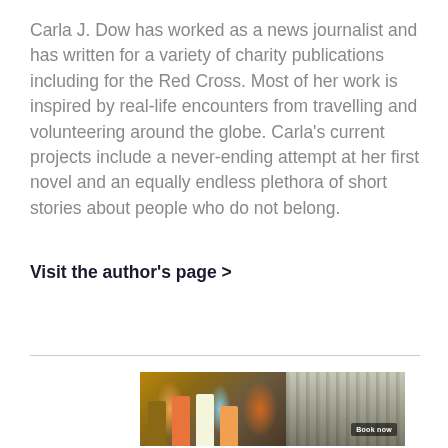Carla J. Dow has worked as a news journalist and has written for a variety of charity publications including for the Red Cross. Most of her work is inspired by real-life encounters from travelling and volunteering around the globe. Carla's current projects include a never-ending attempt at her first novel and an equally endless plethora of short stories about people who do not belong.
Visit the author's page >
[Figure (photo): A horizontal banner image showing people in colorful clothing on the left side (appearing to be at some kind of outdoor event or market) and wooden fence or wall panels on the right side. A 'Book now' badge appears in the lower right.]